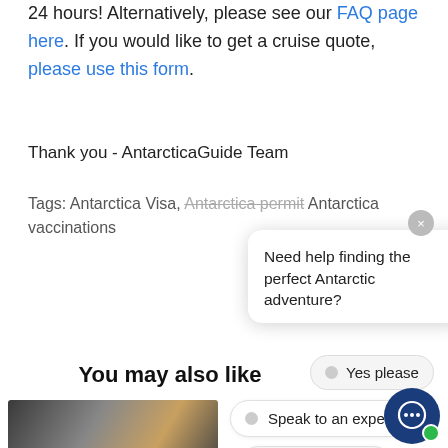24 hours! Alternatively, please see our FAQ page here. If you would like to get a cruise quote, please use this form.
Thank you - AntarcticaGuide Team
Tags: Antarctica Visa, Antarctica permit, Antarctica vaccinations
[Figure (screenshot): Chat popup overlay with options: 'Need help finding the perfect Antarctic adventure?', radio buttons for 'Yes please', 'Speak to an expert', 'Show me trips']
You may also like
[Figure (photo): Partial image of a whale or marine animal]
Whale Watching In Antarctica: Witness Nature's Greatest Mammals
Wh... Antarctica Cruise?
Read more